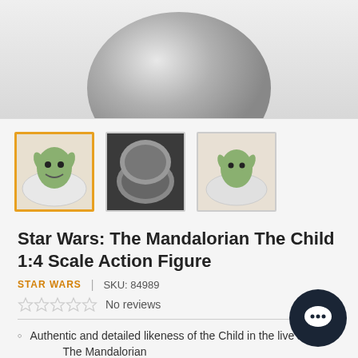[Figure (photo): Main product image showing the top portion of a grey spherical object (egg/pod) against a white background]
[Figure (photo): Thumbnail 1 (selected/active): Baby Yoda / The Child figure sitting in a white pod/bowl]
[Figure (photo): Thumbnail 2: Dark image showing the closed grey pod/egg]
[Figure (photo): Thumbnail 3: The Child figure in the pod from a different angle]
Star Wars: The Mandalorian The Child 1:4 Scale Action Figure
STAR WARS   |   SKU: 84989
No reviews
Authentic and detailed likeness of the Child in the live action The Mandalorian
Two newly developed interchangeable head sculpts (natural, and mouth opened)